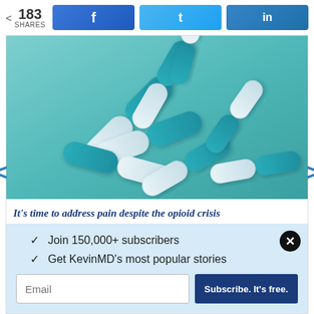< 183 SHARES
[Figure (photo): Blue and white capsule pills scattered/falling on a teal/cyan background]
It's time to address pain despite the opioid crisis
✓  Join 150,000+ subscribers
✓  Get KevinMD's most popular stories